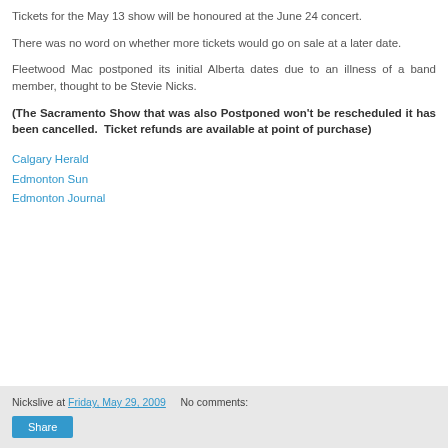Tickets for the May 13 show will be honoured at the June 24 concert.
There was no word on whether more tickets would go on sale at a later date.
Fleetwood Mac postponed its initial Alberta dates due to an illness of a band member, thought to be Stevie Nicks.
(The Sacramento Show that was also Postponed won't be rescheduled it has been cancelled.  Ticket refunds are available at point of purchase)
Calgary Herald
Edmonton Sun
Edmonton Journal
Nickslive at Friday, May 29, 2009   No comments: